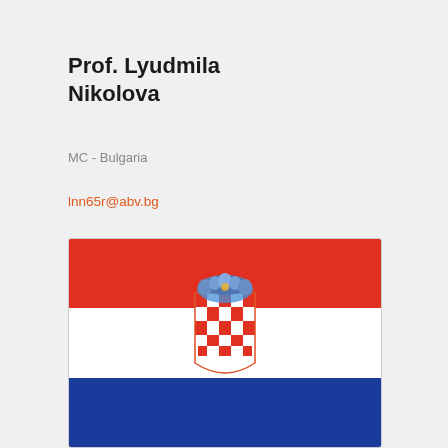Prof. Lyudmila Nikolova
MC - Bulgaria
lnn65r@abv.bg
[Figure (illustration): Croatian flag with three horizontal stripes (red, white, blue) and the Croatian coat of arms centered on the white stripe with a crown of shields above it.]